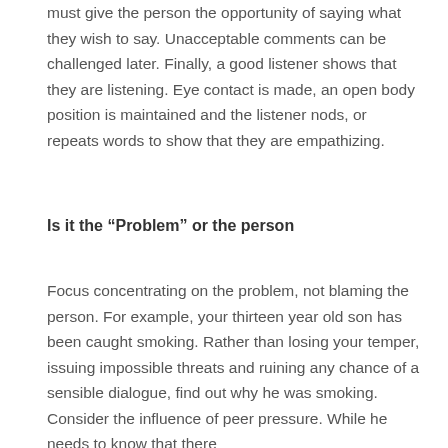must give the person the opportunity of saying what they wish to say. Unacceptable comments can be challenged later. Finally, a good listener shows that they are listening. Eye contact is made, an open body position is maintained and the listener nods, or repeats words to show that they are empathizing.
Is it the “Problem” or the person
Focus concentrating on the problem, not blaming the person. For example, your thirteen year old son has been caught smoking. Rather than losing your temper, issuing impossible threats and ruining any chance of a sensible dialogue, find out why he was smoking. Consider the influence of peer pressure. While he needs to know that there